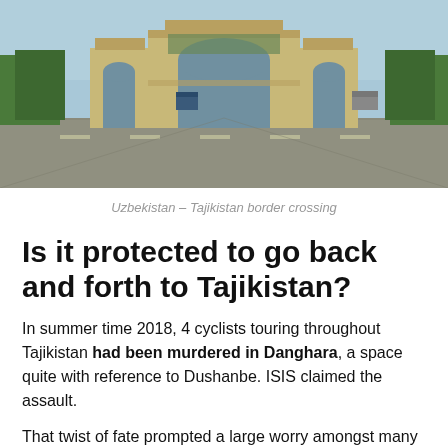[Figure (photo): A wide ornate gate structure (border crossing arch) with Islamic-style architecture, flanked by trees and a road passing through. Vehicles visible in the distance under a blue sky.]
Uzbekistan – Tajikistan border crossing
Is it protected to go back and forth to Tajikistan?
In summer time 2018, 4 cyclists touring throughout Tajikistan had been murdered in Danghara, a space quite with reference to Dushanbe. ISIS claimed the assault.
That twist of fate prompted a large worry amongst many vacationers and the Tajiks are involved that it could impact their tourism negatively.